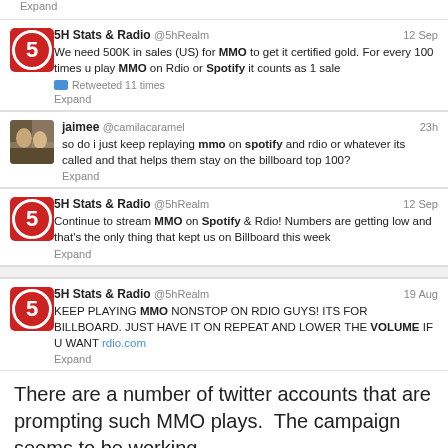Expand
5H Stats & Radio @5hRealm 12 Sep
We need 500K in sales (US) for MMO to get it certified gold. For every 100 times u play MMO on Rdio or Spotify it counts as 1 sale
Retweeted 11 times
Expand
jaimee @camilacaramel 23h
so do i just keep replaying mmo on spotify and rdio or whatever its called and that helps them stay on the billboard top 100?
Expand
5H Stats & Radio @5hRealm 12 Sep
Continue to stream MMO on Spotify & Rdio! Numbers are getting low and that's the only thing that kept us on Billboard this week
Expand
5H Stats & Radio @5hRealm 19 Aug
KEEP PLAYING MMO NONSTOP ON RDIO GUYS! ITS FOR BILLBOARD. JUST HAVE IT ON REPEAT AND LOWER THE VOLUME IF U WANT rdio.com
Expand
There are a number of twitter accounts that are prompting such MMO plays.  The campaign seems to be working.